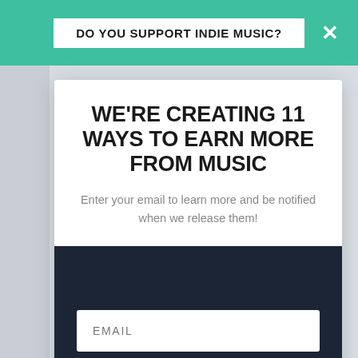DO YOU SUPPORT INDIE MUSIC?
WE'RE CREATING 11 WAYS TO EARN MORE FROM MUSIC
Enter your email to learn more and be notified when we release them!
EMAIL
Keep Me Updated